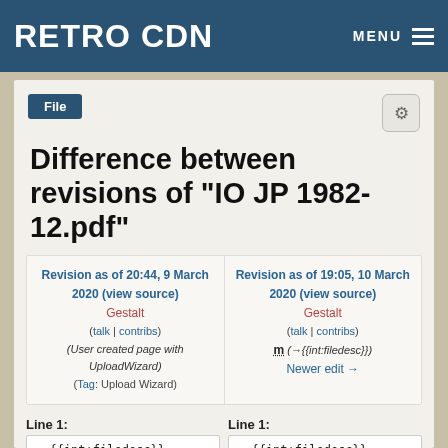RETRO CDN  MENU
File
Difference between revisions of "IO JP 1982-12.pdf"
| Left revision | Right revision |
| --- | --- |
| Revision as of 20:44, 9 March 2020 (view source) | Revision as of 19:05, 10 March 2020 (view source) |
| Gestalt (talk | contribs) | Gestalt (talk | contribs) |
| (User created page with UploadWizard) | m (→{{int:filedesc}}) |
| (Tag: Upload Wizard) | Newer edit → |
Line 1:
Line 1:
=={{int:filedesc}}==
=={{int:filedesc}}==